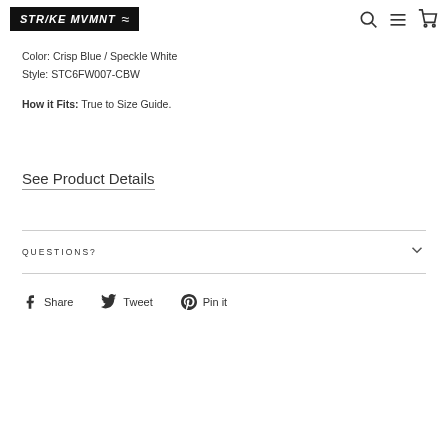STRIKE MVMNT
Color: Crisp Blue / Speckle White
Style: STC6FW007-CBW
How it Fits: True to Size Guide.
See Product Details
QUESTIONS?
Share  Tweet  Pin it